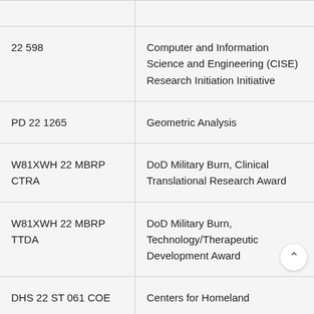| Code | Program Name |
| --- | --- |
| 22 598 | Computer and Information Science and Engineering (CISE) Research Initiation Initiative |
| PD 22 1265 | Geometric Analysis |
| W81XWH 22 MBRP CTRA | DoD Military Burn, Clinical Translational Research Award |
| W81XWH 22 MBRP TTDA | DoD Military Burn, Technology/Therapeutic Development Award |
| DHS 22 ST 061 COE | Centers for Homeland |